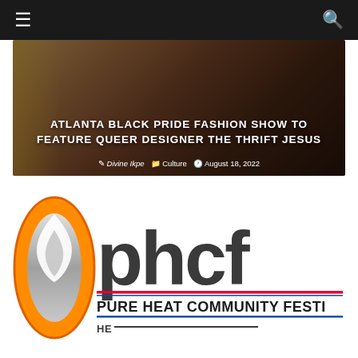Navigation bar with menu and search icons
[Figure (photo): Hero image of a woman with text overlay for article about Atlanta Black Pride Fashion Show]
ATLANTA BLACK PRIDE FASHION SHOW TO FEATURE QUEER DESIGNER THE THRIFT JESUS
Divine Ikpe   Culture   August 18, 2022
[Figure (logo): Pure Heat Community Festival (PHCF) logo with orange flame icon and bold dark gray letters PHCF, with subtitle PURE HEAT COMMUNITY FESTI... and tagline HE...]